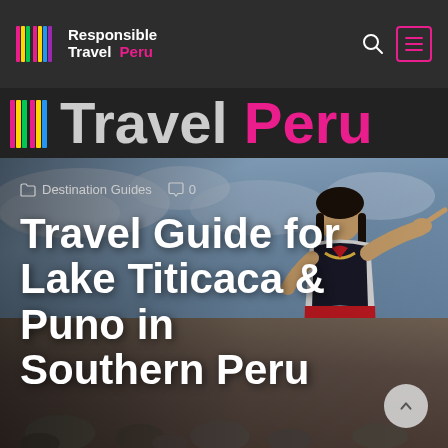[Figure (logo): Responsible Travel Peru logo with colorful vertical stripes and text]
[Figure (photo): Hero image of a young woman in traditional Andean dress pointing, with Lake Titicaca landscape in background]
Destination Guides   0
Travel Guide for Lake Titicaca & Puno in Southern Peru